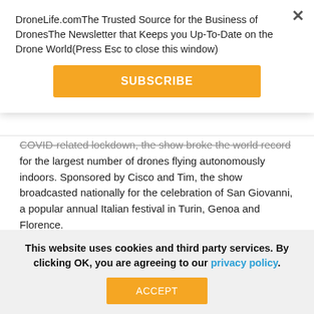DroneLife.comThe Trusted Source for the Business of DronesThe Newsletter that Keeps you Up-To-Date on the Drone World(Press Esc to close this window)
[Figure (other): Orange SUBSCRIBE button]
COVID-related lockdown, the show broke the world record for the largest number of drones flying autonomously indoors. Sponsored by Cisco and Tim, the show broadcasted nationally for the celebration of San Giovanni, a popular annual Italian festival in Turin, Genoa and Florence.
“Dronisos has broken barriers and world records with their
This website uses cookies and third party services. By clicking OK, you are agreeing to our privacy policy.
[Figure (other): Orange ACCEPT button]